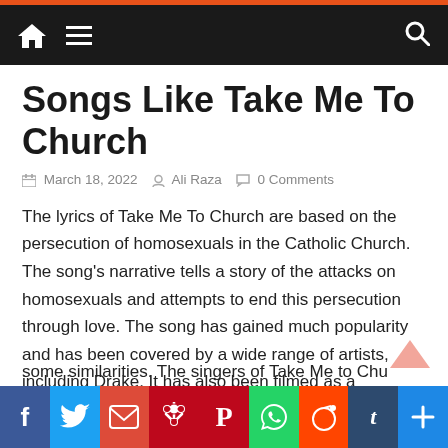Navigation bar with home, menu, and search icons
Songs Like Take Me To Church
March 18, 2022  Ali Raza  0 Comments
The lyrics of Take Me To Church are based on the persecution of homosexuals in the Catholic Church. The song's narrative tells a story of the attacks on homosexuals and attempts to end this persecution through love. The song has gained much popularity and has been covered by a wide range of artists, including Drake. It has also been filmed as a response to the anti-gay and anti-homosexual sentiment prevalent in Russia.
some similarities. The singers of Take Me to Church have
[Figure (other): Social share buttons bar: Facebook, Twitter, Email/Mail, Pinterest, WhatsApp, Reddit, Tumblr, Share/Plus]